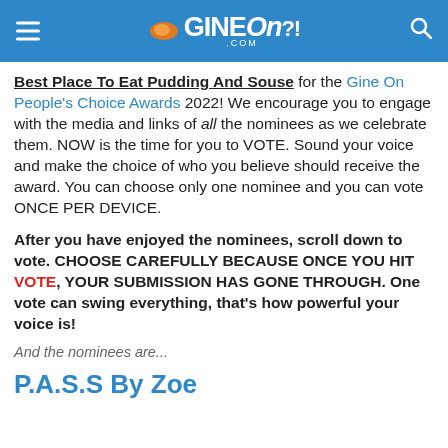GineOn?! .com
Best Place To Eat Pudding And Souse for the Gine On People's Choice Awards 2022! We encourage you to engage with the media and links of all the nominees as we celebrate them. NOW is the time for you to VOTE. Sound your voice and make the choice of who you believe should receive the award. You can choose only one nominee and you can vote ONCE PER DEVICE.
After you have enjoyed the nominees, scroll down to vote. CHOOSE CAREFULLY BECAUSE ONCE YOU HIT VOTE, YOUR SUBMISSION HAS GONE THROUGH. One vote can swing everything, that's how powerful your voice is!
And the nominees are...
P.A.S.S By Zoe